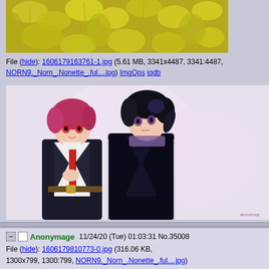[Figure (illustration): Top portion of an anime illustration showing yellow/green flowers or foliage]
File (hide): 1606179163761-1.jpg (5.61 MB, 3341x4487, 3341:4487, NORN9._Norn_.Nonette_.ful....jpg) ImgOps iqdb
[Figure (illustration): Anime illustration of two male characters in dark jackets, one with red/pink hair and red tie, one with black hair]
Anonymage 11/24/20 (Tue) 01:03:31 No.35008
File (hide): 1606179810773-0.jpg (316.06 KB, 1300x799, 1300:799, NORN9._Norn_.Nonette_.ful....jpg) ImgOps iqdb
Quick Reply